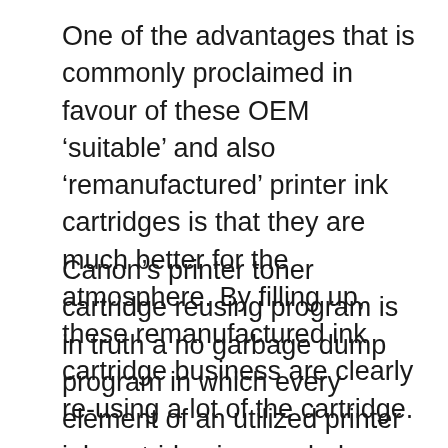One of the advantages that is commonly proclaimed in favour of these OEM ‘suitable’ and also ‘remanufactured’ printer ink cartridges is that they are much better for the atmosphere. By filling up, these remanufactured ink cartridge business are clearly re-using a lot of the cartridge.
Canon’s printer toner cartridge reusing program is in truth a no garbage dump program in which every element of an utilized printer ink cartridge is recycled (75%) or reused (100%). A more advantage of Canon’s printer toner ink cartridge reusing plan is that for every one of the made use of Canon printer ink cartridges accumulated, Canon makes a payment to the Globe Wild animals Fund’s Freshwater Program.